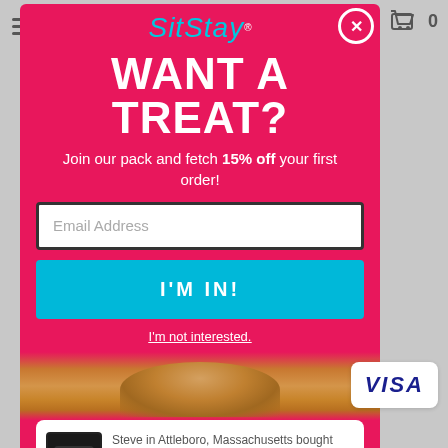[Figure (screenshot): SitStay logo in teal cursive font with registered trademark symbol]
WANT A TREAT?
Join our pack and fetch 15% off your first order!
Email Address
I'M IN!
I'm not interested.
Steve in Attleboro, Massachusetts bought Unimax Multi-Purpose Service and Therapy Dog Vest about 3 hours ago